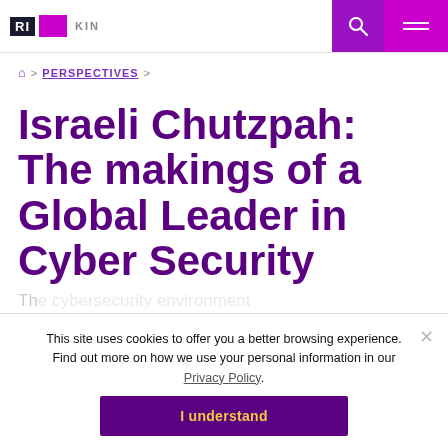RI KIN [logo] | search | menu
⌂ > PERSPECTIVES >
Israeli Chutzpah: The makings of a Global Leader in Cyber Security
This site uses cookies to offer you a better browsing experience. Find out more on how we use your personal information in our Privacy Policy.
I understand